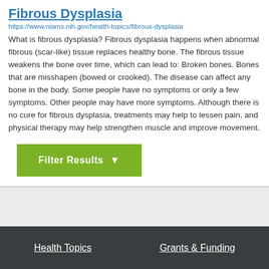Fibrous Dysplasia
https://www.niams.nih.gov/health-topics/fibrous-dysplasia
What is fibrous dysplasia? Fibrous dysplasia happens when abnormal fibrous (scar-like) tissue replaces healthy bone. The fibrous tissue weakens the bone over time, which can lead to: Broken bones. Bones that are misshapen (bowed or crooked). The disease can affect any bone in the body. Some people have no symptoms or only a few symptoms. Other people may have more symptoms. Although there is no cure for fibrous dysplasia, treatments may help to lessen pain, and physical therapy may help strengthen muscle and improve movement.
Filter Results
Health Topics   Grants & Funding